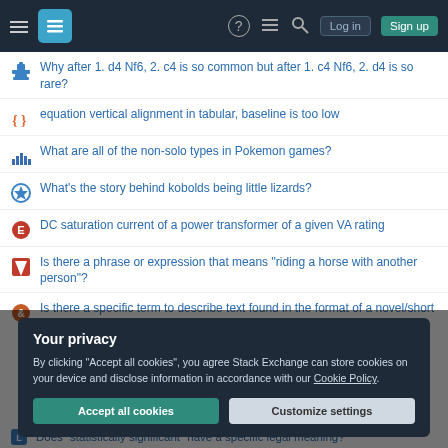Stack Exchange navigation bar with hamburger menu, logo, help, chat, search, Log in, Sign up buttons
Why after 1. d4 Nf6, 2. c4 is so common but after 1. c4 Nf6, 2. d4 is so rare?
equation vertical alignment in tabular, baseline is too low
What are all of the non-solo types in Pokemon games?
What's the story behind kobolds being little lizards?
DC saturation current of a power transformer of a given VA rating
Is there a phrase or expression that means "riding a horse with another person"?
Is there a specific term to describe text found in the format of a novel/short story?
OGIS: Better way to show extent of print composer maps in main...
Your privacy
By clicking "Accept all cookies", you agree Stack Exchange can store cookies on your device and disclose information in accordance with our Cookie Policy.
Accept all cookies
Customize settings
Does "statistically significant" have a specific legal meaning?